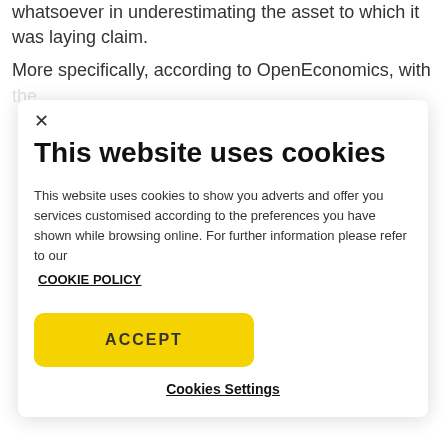whatsoever in underestimating the asset to which it was laying claim.
More specifically, according to OpenEconomics, with the
This website uses cookies
This website uses cookies to show you adverts and offer you services customised according to the preferences you have shown while browsing online. For further information please refer to our COOKIE POLICY
ACCEPT
Cookies Settings